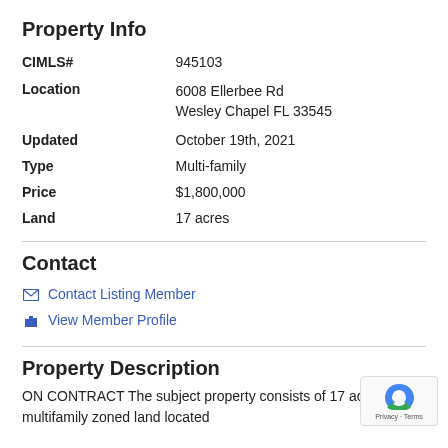Property Info
| CIMLS# | 945103 |
| Location | 6008 Ellerbee Rd
Wesley Chapel FL 33545 |
| Updated | October 19th, 2021 |
| Type | Multi-family |
| Price | $1,800,000 |
| Land | 17 acres |
Contact
Contact Listing Member
View Member Profile
Property Description
ON CONTRACT The subject property consists of 17 acres of multifamily zoned land located